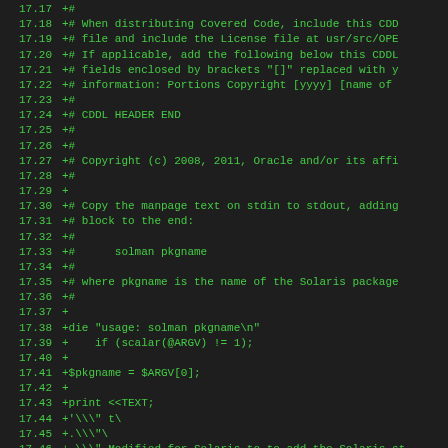Code diff showing lines 17.17 through 17.49 of a Perl script with CDDL header and solman utility code